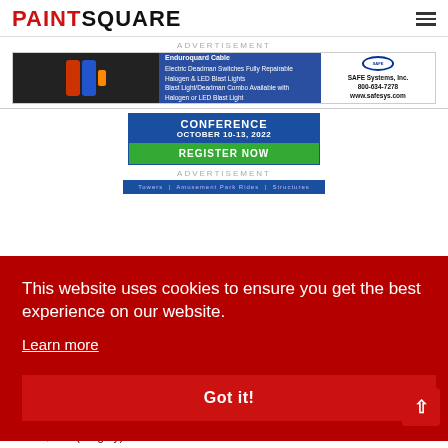PAINTSQUARE
ADVERTISEMENT
[Figure (photo): Banner advertisement for SAFE Systems Inc. featuring Enduroquard Cable, Electric Deadman Switches Fully Repairable, Halogen & LED Blast Lights, and Blast Light/Deadman Combo. Phone: 800-634-7278, website: www.safesys.com]
[Figure (photo): Conference advertisement showing CONFERENCE header, OCTOBER 10-13, 2022 dates, and REGISTER NOW button in green]
ADVERTISEMENT
[Figure (photo): Partial banner ad showing Towers | Amusement Park Rides | Structures]
This website uses cookies to ensure you get the best experience on our website.
Learn more
Got it!
The monument still has an estimated completion date of 2024 and a $100 million, and (roughly) $100 million b...